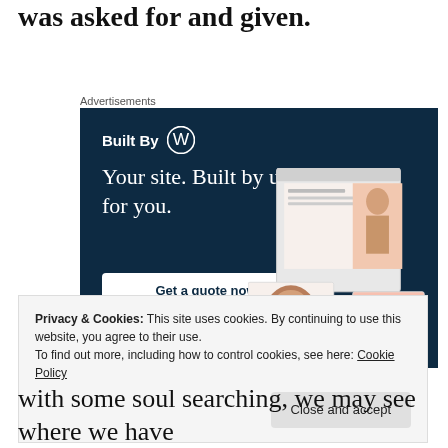was asked for and given.
Advertisements
[Figure (illustration): WordPress 'Built By' advertisement banner with dark navy background showing 'Your site. Built by us. Built for you.' tagline, a 'Get a quote now' button, and website screenshots with fashion photos on the right side.]
Privacy & Cookies: This site uses cookies. By continuing to use this website, you agree to their use.
To find out more, including how to control cookies, see here: Cookie Policy
Close and accept
with some soul searching, we may see where we have